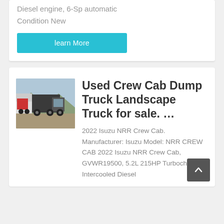Diesel engine, 6-Sp automatic
Condition New
learn More
[Figure (photo): Photo of a used crew cab dump truck / landscape truck parked in a lot]
Used Crew Cab Dump Truck Landscape Truck for sale. …
2022 Isuzu NRR Crew Cab. Manufacturer: Isuzu Model: NRR CREW CAB 2022 Isuzu NRR Crew Cab, GVWR19500, 5.2L 215HP Turbocharged Intercooled Diesel